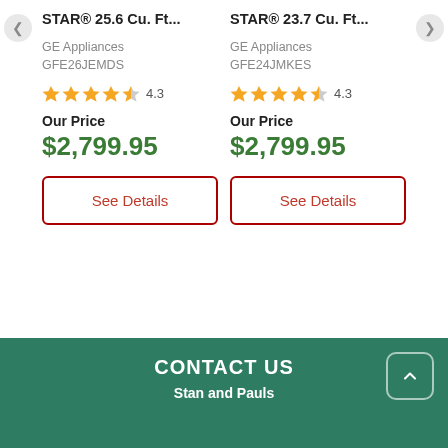STAR® 25.6 Cu. Ft...
GE Appliances
GFE26JEMDS
4.3
Our Price
$2,799.95
See Details
STAR® 23.7 Cu. Ft...
GE Appliances
GFE24JMKES
4.3
Our Price
$2,799.95
See Details
CONTACT US
Stan and Pauls